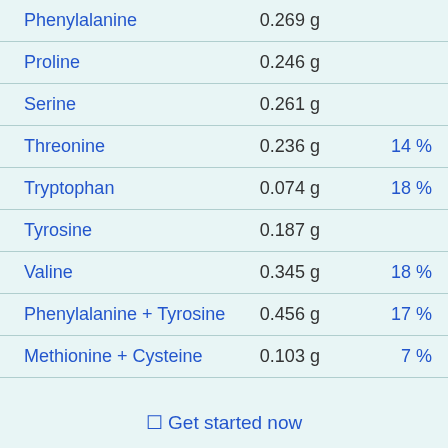| Nutrient | Amount | % DV |
| --- | --- | --- |
| Phenylalanine | 0.269 g |  |
| Proline | 0.246 g |  |
| Serine | 0.261 g |  |
| Threonine | 0.236 g | 14 % |
| Tryptophan | 0.074 g | 18 % |
| Tyrosine | 0.187 g |  |
| Valine | 0.345 g | 18 % |
| Phenylalanine + Tyrosine | 0.456 g | 17 % |
| Methionine + Cysteine | 0.103 g | 7 % |
⬜ Get started now